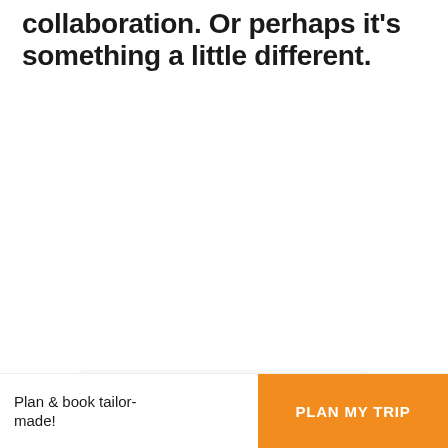collaboration. Or perhaps it's something a little different.
Keep Travel alive
Support Rough Guides so we can keep inspiring your future travel adventures.
Find out how
Plan & book tailor-made!
PLAN MY TRIP